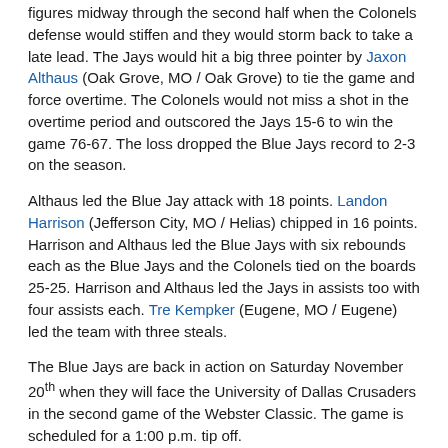figures midway through the second half when the Colonels defense would stiffen and they would storm back to take a late lead. The Jays would hit a big three pointer by Jaxon Althaus (Oak Grove, MO / Oak Grove) to tie the game and force overtime. The Colonels would not miss a shot in the overtime period and outscored the Jays 15-6 to win the game 76-67. The loss dropped the Blue Jays record to 2-3 on the season.
Althaus led the Blue Jay attack with 18 points. Landon Harrison (Jefferson City, MO / Helias) chipped in 16 points. Harrison and Althaus led the Blue Jays with six rebounds each as the Blue Jays and the Colonels tied on the boards 25-25. Harrison and Althaus led the Jays in assists too with four assists each. Tre Kempker (Eugene, MO / Eugene) led the team with three steals.
The Blue Jays are back in action on Saturday November 20th when they will face the University of Dallas Crusaders in the second game of the Webster Classic. The game is scheduled for a 1:00 p.m. tip off.
GAME LEADERS
WESTMINSTER